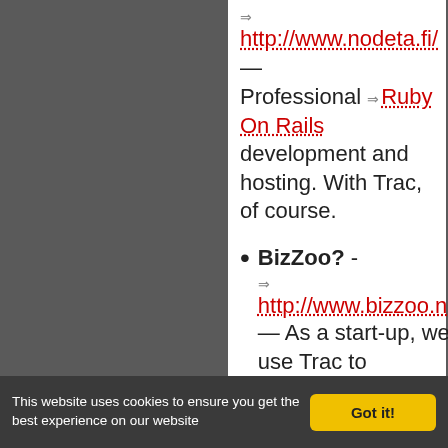http://www.nodeta.fi/ — Professional Ruby On Rails development and hosting. With Trac, of course.
BizZoo? - http://www.bizzoo.net — As a start-up, we use Trac to collaborate with the business and manage requirements...
This website uses cookies to ensure you get the best experience on our website  Got it!